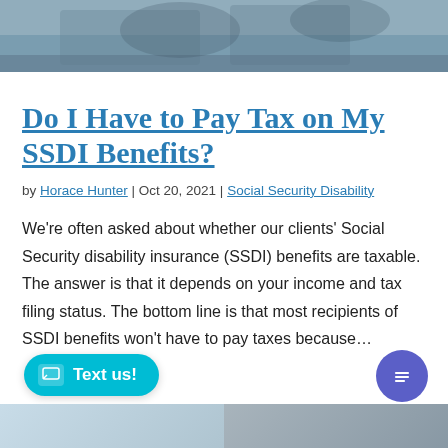[Figure (photo): Top portion of a photo showing people in an office or meeting setting, partially cropped]
Do I Have to Pay Tax on My SSDI Benefits?
by Horace Hunter | Oct 20, 2021 | Social Security Disability
We're often asked about whether our clients' Social Security disability insurance (SSDI) benefits are taxable. The answer is that it depends on your income and tax filing status. The bottom line is that most recipients of SSDI benefits won't have to pay taxes because…
[Figure (screenshot): Bottom partial strip showing two photos side by side at the bottom of the page]
[Figure (other): Cyan 'Text us!' button with chat icon in bottom left]
[Figure (other): Purple circular chat button in bottom right]